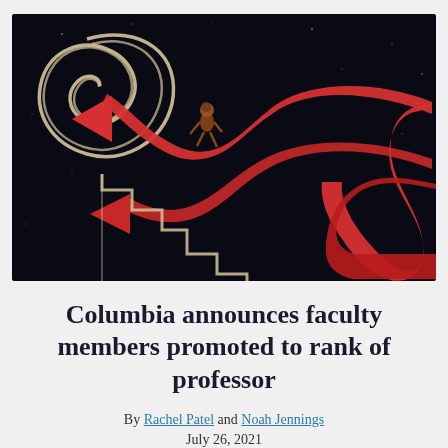[Figure (illustration): Dark/black background illustration showing a small figure of a person being swept by large swooping red ribbon/arrow shapes, with cream/gold colored spiral waves on the upper left and stair steps descending on the lower left. The red shapes flow in a swooping S-curve pattern across the image.]
Columbia announces faculty members promoted to rank of professor
By Rachel Patel and Noah Jennings July 26, 2021